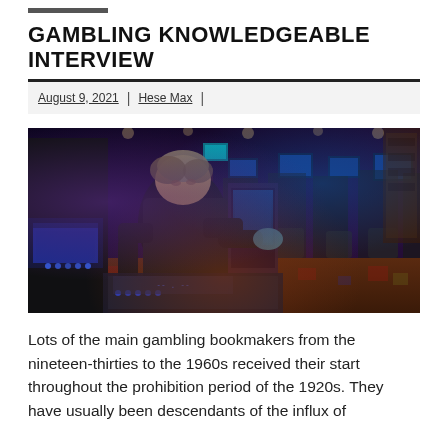GAMBLING KNOWLEDGEABLE INTERVIEW
August 9, 2021  |  Hese Max  |
[Figure (photo): A casino worker in a dark uniform and blue gloves cleaning or servicing a slot machine on a casino floor with rows of gaming machines and screens visible in the background.]
Lots of the main gambling bookmakers from the nineteen-thirties to the 1960s received their start throughout the prohibition period of the 1920s. They have usually been descendants of the influx of